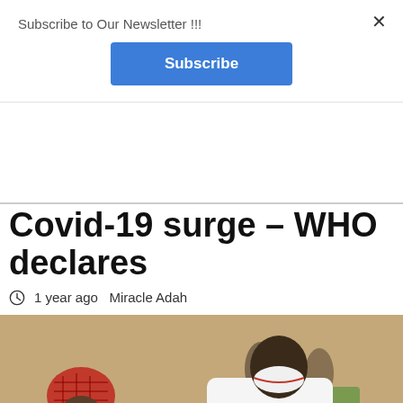Subscribe to Our Newsletter !!!
Subscribe
Covid-19 surge – WHO declares
1 year ago  Miracle Adah
[Figure (photo): A healthcare worker in white uniform and mask administering a vaccine or injection to a patient wearing a red checkered headscarf and white mask, in an indoor clinic setting.]